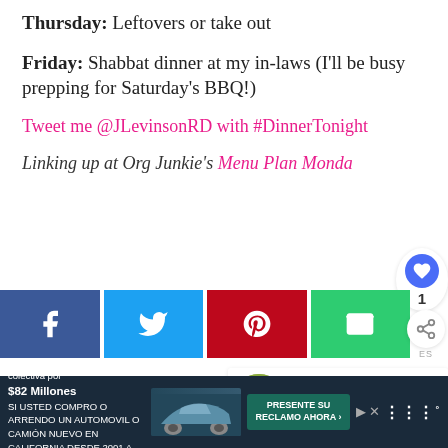Thursday: Leftovers or take out
Friday: Shabbat dinner at my in-laws (I'll be busy prepping for Saturday's BBQ!)
Tweet me @JLevinsonRD with #DinnerTonight
Linking up at Org Junkie's Menu Plan Monday
[Figure (screenshot): Social sharing buttons: Facebook (blue), Twitter (light blue), Pinterest (red), Email (green), Share icon, Heart/like counter showing 1]
[Figure (infographic): What's Next panel showing Menu Plan Monday thumbnail and text]
[Figure (screenshot): Advertisement banner: Acuerdo de la demanda colectiva por $82 Millones, SI USTED COMPRO O ARRENDO UN AUTOMOVIL O CAMION NUEVO EN CALIFORNIA DESDE 2001 A 2003, with car image and PRESENTE SU RECLAMO AHORA button]